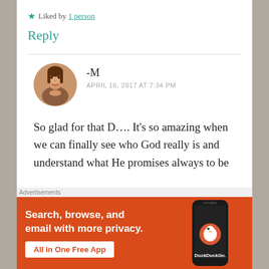★ Liked by 1 person
Reply
-M
APRIL 16, 2017 AT 7:34 PM
So glad for that D…. It's so amazing when we can finally see who God really is and understand what He promises always to be
[Figure (other): DuckDuckGo advertisement banner: orange background with text 'Search, browse, and email with more privacy. All in One Free App' and DuckDuckGo logo on a smartphone image]
Advertisements